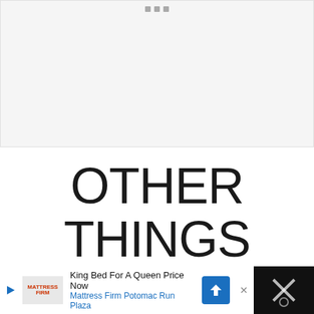[Figure (other): Large light gray image placeholder area with three small gray square dots/bullets at the top center, representing a slideshow or carousel image area]
OTHER THINGS TO DO IN
[Figure (other): Advertisement bar at the bottom: Mattress Firm ad reading 'King Bed For A Queen Price Now' and 'Mattress Firm Potomac Run Plaza' with logo, navigation arrow icon, close button, and a dark panel on the right with an icon]